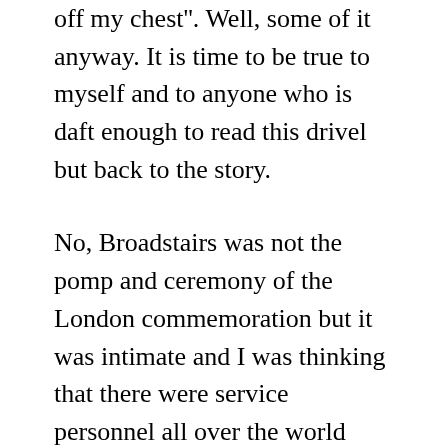off my chest''. Well, some of it anyway. It is time to be true to myself and to anyone who is daft enough to read this drivel but back to the story.
No, Broadstairs was not the pomp and ceremony of the London commemoration but it was intimate and I was thinking that there were service personnel all over the world doing the same thing, although many of them would not have been able to have a dram as I did due to the constraints of where they were. Such is the continuum of life serving your country and I suppose it will always be the same even if the technology, weapons and equipment all move on. I'll bet there were a few half bottles stowed in kitbags!